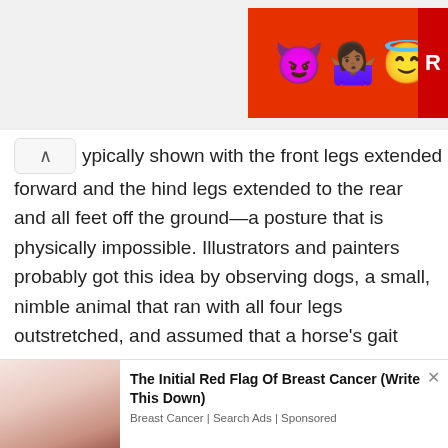[Figure (illustration): Top advertisement banner with emoji characters (purple devil, woman figure, halo emoji) on a red background with a partial 'R' letter visible on the right edge]
ypically shown with the front legs extended forward and the hind legs extended to the rear and all feet off the ground—a posture that is physically impossible. Illustrators and painters probably got this idea by observing dogs, a small, nimble animal that ran with all four legs outstretched, and assumed that a horse's gait was similar. The result was the characteristic “rocking horse” posture or the “flying gallop”.
[Figure (photo): Photo of a woman in a white top touching her chest/breast area, used as an advertisement image for breast cancer awareness]
The Initial Red Flag Of Breast Cancer (Write This Down)
Breast Cancer | Search Ads | Sponsored